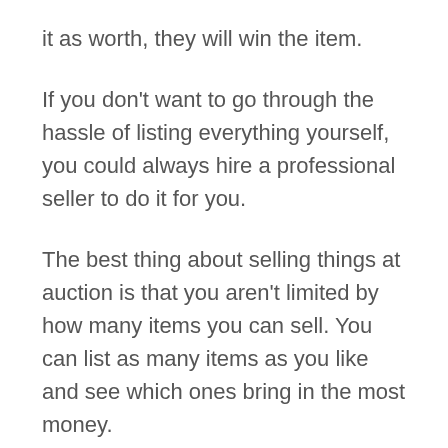it as worth, they will win the item.
If you don't want to go through the hassle of listing everything yourself, you could always hire a professional seller to do it for you.
The best thing about selling things at auction is that you aren't limited by how many items you can sell. You can list as many items as you like and see which ones bring in the most money.
So, this makes the site good for selling AFL cards if that's what you're intending to do.
You also won't need to worry about shipping costs or